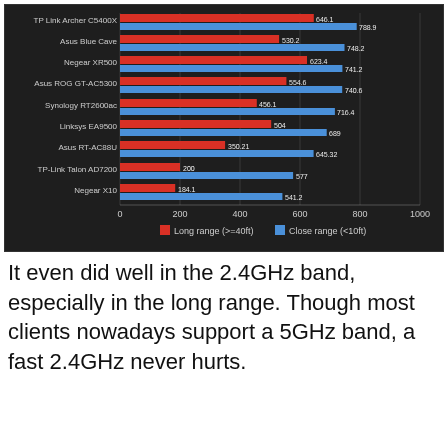[Figure (grouped-bar-chart): ]
It even did well in the 2.4GHz band, especially in the long range. Though most clients nowadays support a 5GHz band, a fast 2.4GHz never hurts.